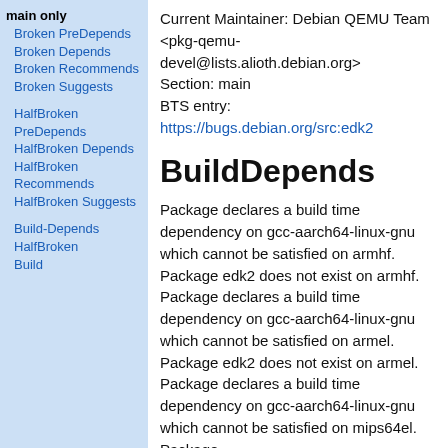main only
Broken PreDepends
Broken Depends
Broken Recommends
Broken Suggests
HalfBroken PreDepends
HalfBroken Depends
HalfBroken Recommends
HalfBroken Suggests
Build-Depends HalfBroken Build
Current Maintainer: Debian QEMU Team <pkg-qemu-devel@lists.alioth.debian.org>
Section: main
BTS entry:
https://bugs.debian.org/src:edk2
BuildDepends
Package declares a build time dependency on gcc-aarch64-linux-gnu which cannot be satisfied on armhf. Package edk2 does not exist on armhf. Package declares a build time dependency on gcc-aarch64-linux-gnu which cannot be satisfied on armel. Package edk2 does not exist on armel. Package declares a build time dependency on gcc-aarch64-linux-gnu which cannot be satisfied on mips64el. Package